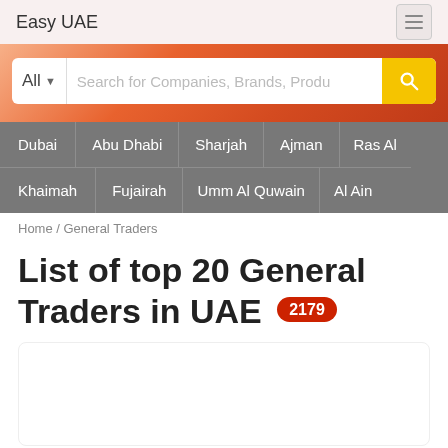Easy UAE
[Figure (screenshot): Search bar with 'All' dropdown and placeholder text 'Search for Companies, Brands, Produ' and yellow search button]
Dubai
Abu Dhabi
Sharjah
Ajman
Ras Al Khaimah
Fujairah
Umm Al Quwain
Al Ain
Home / General Traders
List of top 20 General Traders in UAE 2179